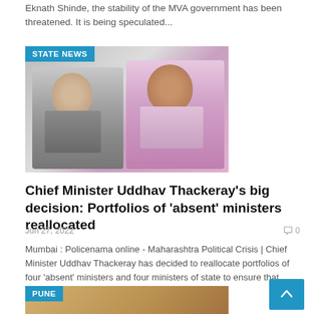Eknath Shinde, the stability of the MVA government has been threatened. It is being speculated...
[Figure (photo): STATE NEWS badge with photo of two men — Uddhav Thackeray on the left and Eknath Shinde on the right]
Chief Minister Uddhav Thackeray's big decision: Portfolios of 'absent' ministers reallocated
Jun 27, 2022
0 (comment count)
Mumbai : Policenama online - Maharashtra Political Crisis | Chief Minister Uddhav Thackeray has decided to reallocate portfolios of four 'absent' ministers and four ministers of state to ensure that important work doesn't come to a...
[Figure (photo): PUNE badge with photo of a man on a golden/yellow background]
[Figure (other): Scroll to top button with upward arrow]